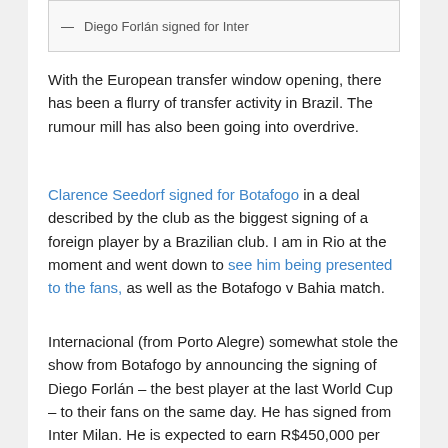— Diego Forlán signed for Inter
With the European transfer window opening, there has been a flurry of transfer activity in Brazil. The rumour mill has also been going into overdrive.
Clarence Seedorf signed for Botafogo in a deal described by the club as the biggest signing of a foreign player by a Brazilian club. I am in Rio at the moment and went down to see him being presented to the fans, as well as the Botafogo v Bahia match.
Internacional (from Porto Alegre) somewhat stole the show from Botafogo by announcing the signing of Diego Forlán – the best player at the last World Cup – to their fans on the same day. He has signed from Inter Milan. He is expected to earn R$450,000 per month (about GBP 33,000 per week). Seedorf is likely to earn R$700,000 per month (or GBP 51,000 per week). For comparison purposes, Neymar earns about GBP 110,000 per week at Santos. All three deals illustrate that Brazil's economic